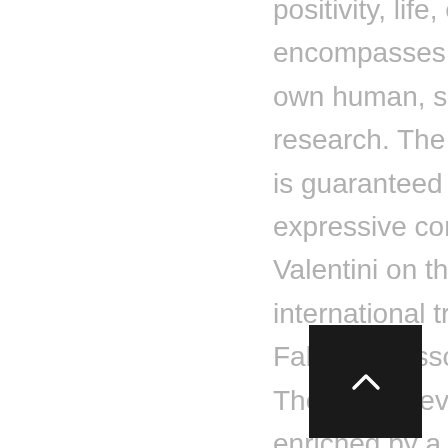miso's music smells of positivity, life, energy. An album that encompasses all of himself and his own human, spiritual and artistic research. The improvisational element is guaranteed at the highest levels, the expressive contribution of Massimo Valentini on the saxophones, and of the international trumpet champion, Fabrizio Bosso, capture the listeners. The sound level is bright, limpid, enriched by a sense of complete and clear arrangement, rhythmically sustained in an impeccable